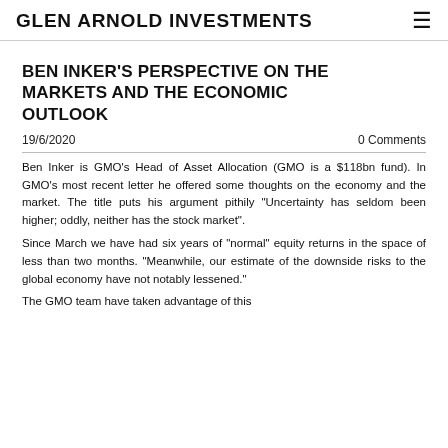GLEN ARNOLD INVESTMENTS
BEN INKER'S PERSPECTIVE ON THE MARKETS AND THE ECONOMIC OUTLOOK
19/6/2020   0 Comments
Ben Inker is GMO's Head of Asset Allocation (GMO is a $118bn fund). In GMO's most recent letter he offered some thoughts on the economy and the market. The title puts his argument pithily "Uncertainty has seldom been higher; oddly, neither has the stock market".
Since March we have had six years of "normal" equity returns in the space of less than two months. "Meanwhile, our estimate of the downside risks to the global economy have not notably lessened."
The GMO team have taken advantage of this